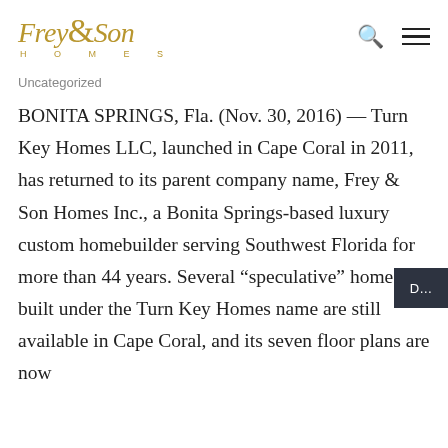Frey & Son Homes
Uncategorized
BONITA SPRINGS, Fla. (Nov. 30, 2016) — Turn Key Homes LLC, launched in Cape Coral in 2011, has returned to its parent company name, Frey & Son Homes Inc., a Bonita Springs-based luxury custom homebuilder serving Southwest Florida for more than 44 years. Several “speculative” homes built under the Turn Key Homes name are still available in Cape Coral, and its seven floor plans are now